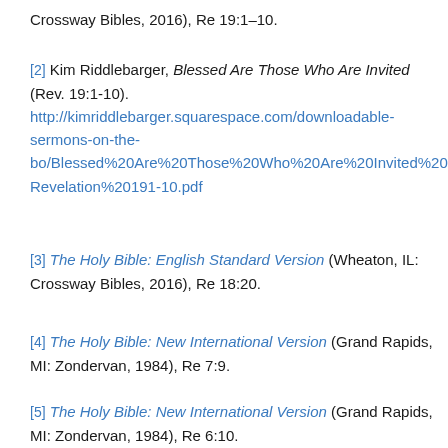Crossway Bibles, 2016), Re 19:1–10.
[2] Kim Riddlebarger, Blessed Are Those Who Are Invited (Rev. 19:1-10). http://kimriddlebarger.squarespace.com/downloadable-sermons-on-the-bo/Blessed%20Are%20Those%20Who%20Are%20Invited%20%20Revelation%20191-10.pdf
[3] The Holy Bible: English Standard Version (Wheaton, IL: Crossway Bibles, 2016), Re 18:20.
[4] The Holy Bible: New International Version (Grand Rapids, MI: Zondervan, 1984), Re 7:9.
[5] The Holy Bible: New International Version (Grand Rapids, MI: Zondervan, 1984), Re 6:10.